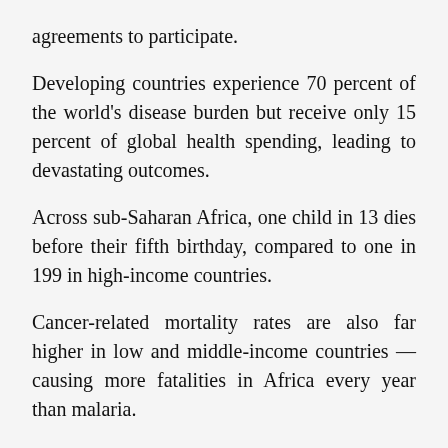agreements to participate.
Developing countries experience 70 percent of the world's disease burden but receive only 15 percent of global health spending, leading to devastating outcomes.
Across sub-Saharan Africa, one child in 13 dies before their fifth birthday, compared to one in 199 in high-income countries.
Cancer-related mortality rates are also far higher in low and middle-income countries — causing more fatalities in Africa every year than malaria.
All this is set to a backdrop of limited access to the latest drugs.
Essential medicines and vaccines typically take four